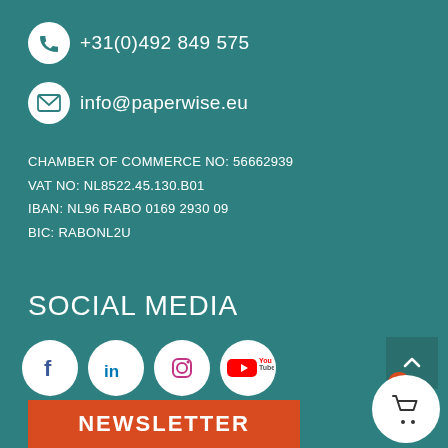+31(0)492 849 575
info@paperwise.eu
CHAMBER OF COMMERCE NO: 56662939
VAT NO: NL8522.45.130.B01
IBAN: NL96 RABO 0169 2930 09
BIC: RABONL2U
SOCIAL MEDIA
[Figure (illustration): Four social media icons in white circles: Facebook (f), LinkedIn (in), Instagram (camera), YouTube (play button with 'You Tube' text)]
IN THE WEBSHOP
> Drinking cups
NEWSLETTER